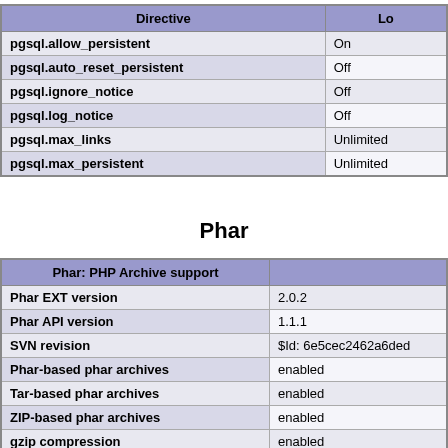| Directive | Lo |
| --- | --- |
| pgsql.allow_persistent | On |
| pgsql.auto_reset_persistent | Off |
| pgsql.ignore_notice | Off |
| pgsql.log_notice | Off |
| pgsql.max_links | Unlimited |
| pgsql.max_persistent | Unlimited |
Phar
| Phar: PHP Archive support |  |
| --- | --- |
| Phar EXT version | 2.0.2 |
| Phar API version | 1.1.1 |
| SVN revision | $Id: 6e5cec2462a6ded |
| Phar-based phar archives | enabled |
| Tar-based phar archives | enabled |
| ZIP-based phar archives | enabled |
| gzip compression | enabled |
| bzip2 compression | enabled |
| Native OpenSSL support | enabled |